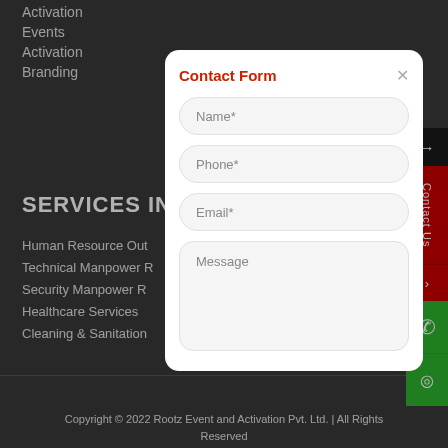Activation
Events
Activation
Branding
SERVICES IN MA
Human Resource Out
Technical Manpower R
Security Manpower R
Healthcare Services
Cleaning & Sanitation
Contact Form
Name*
Phone*
Email*
Message
Copyright © 2022 Rootz Event and Activation Pvt. Ltd. | All Rights Reserved